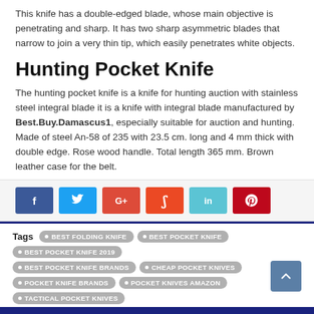This knife has a double-edged blade, whose main objective is penetrating and sharp. It has two sharp asymmetric blades that narrow to join a very thin tip, which easily penetrates white objects.
Hunting Pocket Knife
The hunting pocket knife is a knife for hunting auction with stainless steel integral blade it is a knife with integral blade manufactured by Best.Buy.Damascus1, especially suitable for auction and hunting. Made of steel An-58 of 235 with 23.5 cm. long and 4 mm thick with double edge. Rose wood handle. Total length 365 mm. Brown leather case for the belt.
[Figure (infographic): Social sharing buttons: Facebook (blue), Twitter (light blue), Google+ (red), StumbleUpon (orange-red), LinkedIn (cyan), Pinterest (red)]
Tags  • BEST FOLDING KNIFE  • BEST POCKET KNIFE  • BEST POCKET KNIFE 2019  • BEST POCKET KNIFE BRANDS  • CHEAP POCKET KNIVES  • POCKET KNIFE BRANDS  • POCKET KNIVES AMAZON  • TACTICAL POCKET KNIVES